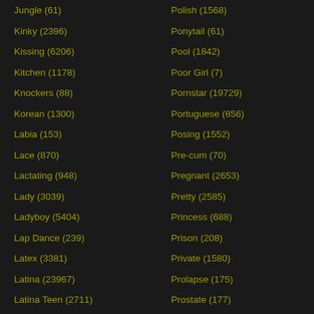Jungle (61)
Kinky (2396)
Kissing (6206)
Kitchen (1178)
Knockers (88)
Korean (1300)
Labia (153)
Lace (870)
Lactating (948)
Lady (3039)
Ladyboy (5404)
Lap Dance (239)
Latex (3381)
Latina (23967)
Latina Teen (2711)
Polish (1568)
Ponytail (61)
Pool (1842)
Poor Girl (7)
Pornstar (19729)
Portuguese (856)
Posing (1552)
Pre-cum (70)
Pregnant (2653)
Pretty (2585)
Princess (688)
Prison (208)
Private (1580)
Prolapse (175)
Prostate (177)